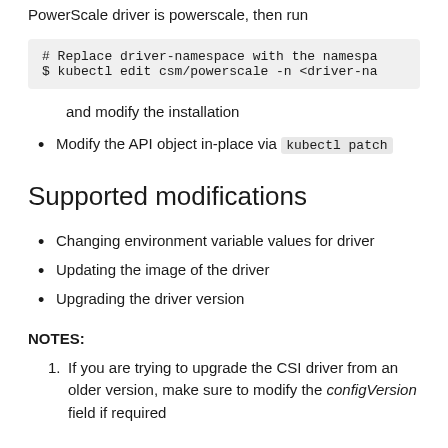PowerScale driver is powerscale, then run
# Replace driver-namespace with the namespa
$ kubectl edit csm/powerscale -n <driver-na
and modify the installation
Modify the API object in-place via kubectl patch
Supported modifications
Changing environment variable values for driver
Updating the image of the driver
Upgrading the driver version
NOTES:
If you are trying to upgrade the CSI driver from an older version, make sure to modify the configVersion field if required